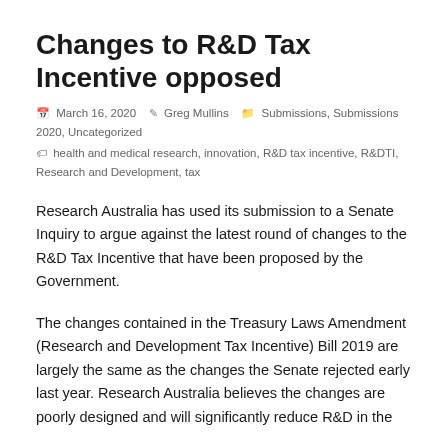Changes to R&D Tax Incentive opposed
March 16, 2020 · Greg Mullins · Submissions, Submissions 2020, Uncategorized · health and medical research, innovation, R&D tax incentive, R&DTI, Research and Development, tax
Research Australia has used its submission to a Senate Inquiry to argue against the latest round of changes to the R&D Tax Incentive that have been proposed by the Government.
The changes contained in the Treasury Laws Amendment (Research and Development Tax Incentive) Bill 2019 are largely the same as the changes the Senate rejected early last year. Research Australia believes the changes are poorly designed and will significantly reduce R&D in the